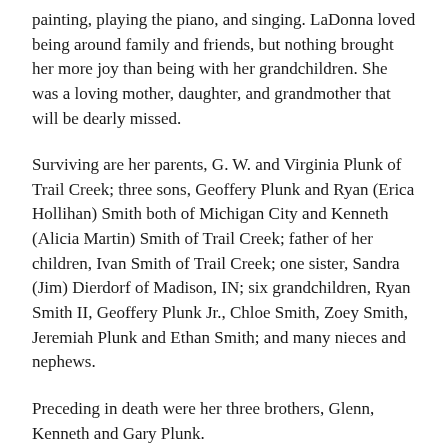painting, playing the piano, and singing. LaDonna loved being around family and friends, but nothing brought her more joy than being with her grandchildren. She was a loving mother, daughter, and grandmother that will be dearly missed.
Surviving are her parents, G. W. and Virginia Plunk of Trail Creek; three sons, Geoffery Plunk and Ryan (Erica Hollihan) Smith both of Michigan City and Kenneth (Alicia Martin) Smith of Trail Creek; father of her children, Ivan Smith of Trail Creek; one sister, Sandra (Jim) Dierdorf of Madison, IN; six grandchildren, Ryan Smith II, Geoffery Plunk Jr., Chloe Smith, Zoey Smith, Jeremiah Plunk and Ethan Smith; and many nieces and nephews.
Preceding in death were her three brothers, Glenn, Kenneth and Gary Plunk.